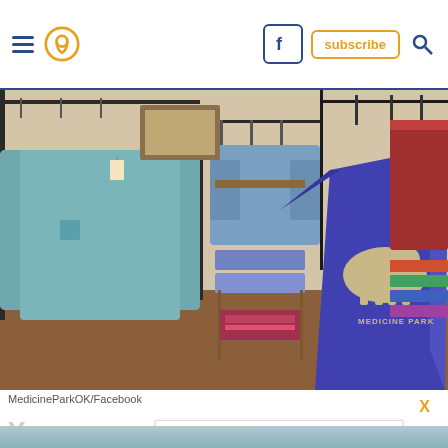Navigation header with hamburger menu, map pin icon, Facebook icon, subscribe button, and search icon
[Figure (photo): Interior of a souvenir/gift shop in Medicine Park, OK showing clothing racks with t-shirts including a blue 'Medicine Park' bison t-shirt in the foreground, folded merchandise on wooden shelves, and a shopper browsing in background]
MedicineParkOK/Facebook
You co... ne street,... ots of places to explore in town.
[Figure (screenshot): Advertisement overlay: 'Shop Online, Pickup Today - World Market' with a blue navigation/direction icon on the right, small play button and brand logo on left, with an X close button]